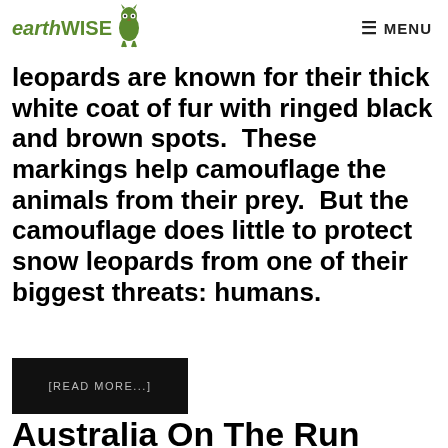earthWISE [logo] MENU
leopards are known for their thick white coat of fur with ringed black and brown spots.  These markings help camouflage the animals from their prey.  But the camouflage does little to protect snow leopards from one of their biggest threats: humans.
[READ MORE...]
Australia On The Run